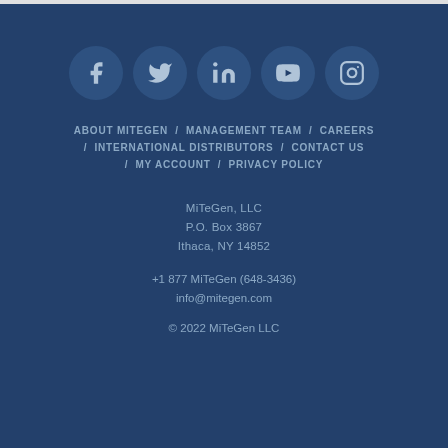[Figure (other): Row of 5 social media icon circles: Facebook, Twitter, LinkedIn, YouTube, Instagram]
ABOUT MITEGEN / MANAGEMENT TEAM / CAREERS / INTERNATIONAL DISTRIBUTORS / CONTACT US / MY ACCOUNT / PRIVACY POLICY
MiTeGen, LLC
P.O. Box 3867
Ithaca, NY 14852
+1 877 MiTeGen (648-3436)
info@mitegen.com
© 2022 MiTeGen LLC